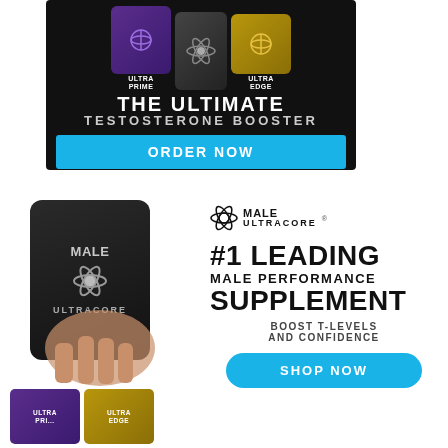[Figure (infographic): Top advertisement banner for Ultra Prime / Ultra Edge testosterone booster products. Black background with three supplement containers (purple Ultra Prime, dark center bottle, gold Ultra Edge) and text 'THE ULTIMATE TESTOSTERONE BOOSTER' with blue ORDER NOW button.]
[Figure (infographic): Bottom advertisement for Male Ultracore supplement. Left side shows hand holding black Male Ultracore bottle with two smaller Ultra Prime and Ultra Edge bottles below. Right side shows Male Ultracore logo, text '#1 LEADING MALE PERFORMANCE SUPPLEMENT', 'BOOST T-LEVELS AND CONFIDENCE', and a blue SHOP NOW button.]